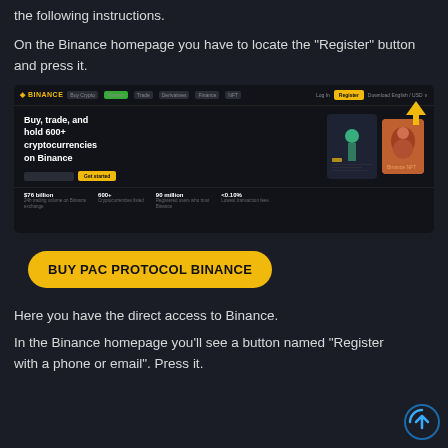the following instructions.
On the Binance homepage you have to locate the "Register" button and press it.
[Figure (screenshot): Screenshot of the Binance homepage showing 'Buy, trade, and hold 600+ cryptocurrencies on Binance' hero text with a yellow 'Register' button highlighted by an orange arrow in the top-right navigation. Stats show $76 billion, 600+, 90 million, <0.10%.]
BUY PAC PROTOCOL BINANCE
Here you have the direct access to Binance.
In the Binance homepage you'll see a button named "Register with a phone or email". Press it.